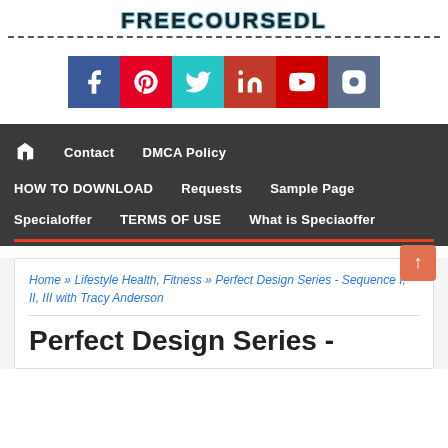FREECOURSEDL
[Figure (infographic): Social media icon buttons: Facebook (blue), Pinterest (red), Twitter (cyan), LinkedIn (dark red), YouTube (red), Instagram (grey-blue)]
Home | Contact | DMCA Policy
HOW TO DOWNLOAD | Requests | Sample Page
Specialoffer | TERMS OF USE | What is Speciaoffer
Home » Lifestyle Health, Fitness » Perfect Design Series - Sequence I, II, III with Tracy Anderson
Perfect Design Series -